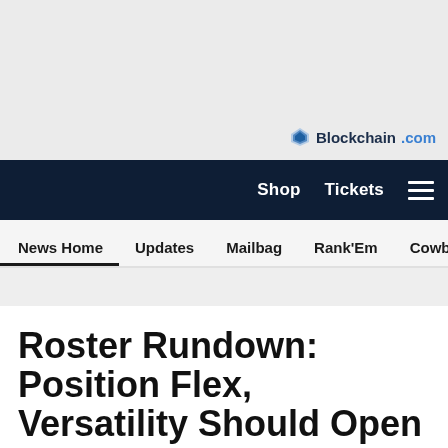[Figure (logo): Blockchain.com logo with blue diamond icon and text]
Shop  Tickets  ☰
News Home  Updates  Mailbag  Rank'Em  Cowbuzz  Past/Pres
Roster Rundown: Position Flex, Versatility Should Open
[Figure (infographic): Social sharing icons: Facebook, Twitter, Email, Link]